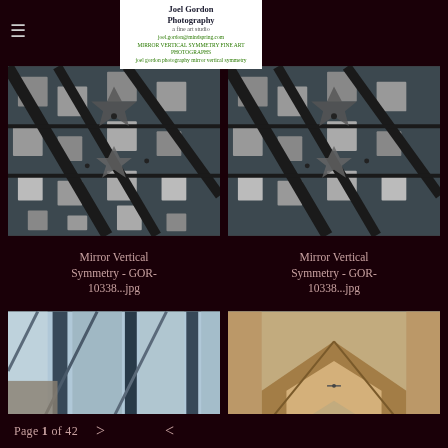Joel Gordon Photography
[Figure (photo): Architectural photo showing mirror vertical symmetry of a building ceiling/facade with geometric glass and metal grid patterns, black and white tones]
[Figure (photo): Architectural photo showing mirror vertical symmetry of a building ceiling/facade with geometric glass and metal grid patterns, black and white tones - same image]
Mirror Vertical Symmetry - GOR-10338...jpg
Mirror Vertical Symmetry - GOR-10338...jpg
[Figure (photo): Looking up at modern glass and steel building facade with angular lines and blue sky]
[Figure (photo): Looking up at tan/brown concrete building with geometric angular architectural details]
Page 1 of 42